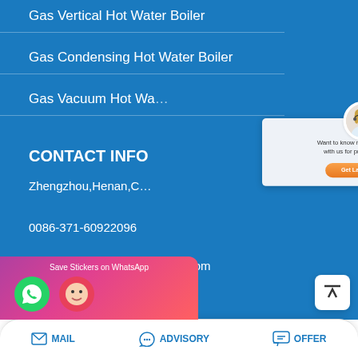Gas Vertical Hot Water Boiler
Gas Condensing Hot Water Boiler
Gas Vacuum Hot Wa…
CONTACT INFO
Zhengzhou,Henan,C…
0086-371-60922096
quotation@boilermanufactory.com
[Figure (screenshot): Chat popup with customer service avatar, stars, text 'Want to know more details? Chat with us for preferential price!' and 'Get Latest Price' button]
[Figure (infographic): WhatsApp stickers banner with phone and face icons]
MAIL   ADVISORY   OFFER